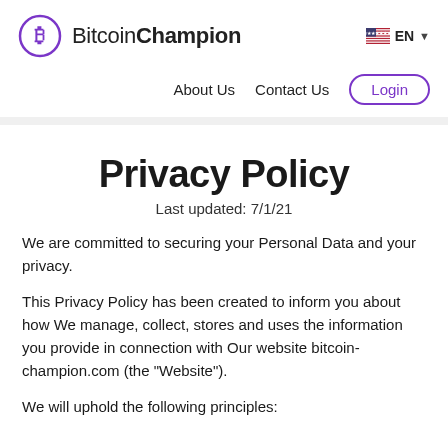BitcoinChampion — EN — About Us  Contact Us  Login
Privacy Policy
Last updated: 7/1/21
We are committed to securing your Personal Data and your privacy.
This Privacy Policy has been created to inform you about how We manage, collect, stores and uses the information you provide in connection with Our website bitcoin-champion.com (the "Website").
We will uphold the following principles: